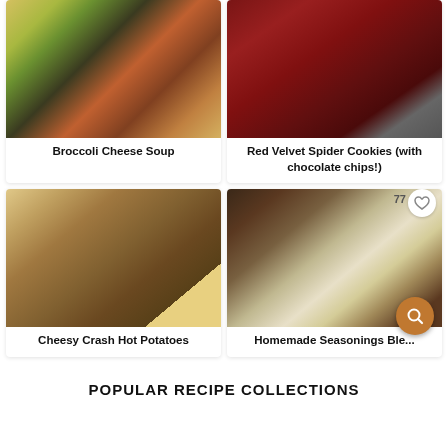[Figure (photo): Broccoli cheese soup in a black bowl with shredded cheddar on top, carrots and vegetables in background]
Broccoli Cheese Soup
[Figure (photo): Red velvet spider cookies decorated with white icing and chocolate chips]
Red Velvet Spider Cookies (with chocolate chips!)
[Figure (photo): Cheesy crash hot potatoes with parmesan and herbs on a white plate]
Cheesy Crash Hot Potatoes
[Figure (photo): Homemade Seasonings Blend recipe cards displayed on dark background with spices]
Homemade Seasonings Ble...
POPULAR RECIPE COLLECTIONS